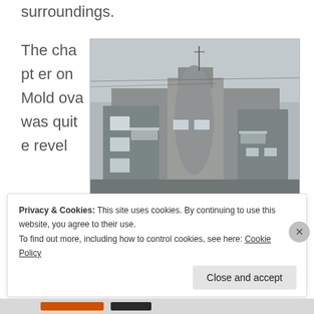surroundings.
The chapter on Moldova was quite revel
[Figure (photo): A photograph of a typical Soviet-era apartment building with concrete facade, balconies, and antennas on the roof, photographed against a grey sky.]
A typical apartment building
Privacy & Cookies: This site uses cookies. By continuing to use this website, you agree to their use.
To find out more, including how to control cookies, see here: Cookie Policy
Close and accept